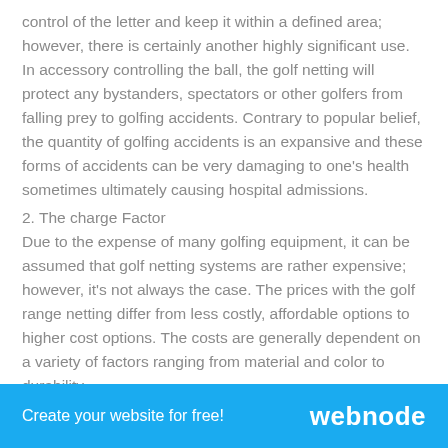control of the letter and keep it within a defined area; however, there is certainly another highly significant use. In accessory controlling the ball, the golf netting will protect any bystanders, spectators or other golfers from falling prey to golfing accidents. Contrary to popular belief, the quantity of golfing accidents is an expansive and these forms of accidents can be very damaging to one's health sometimes ultimately causing hospital admissions.
2. The charge Factor
Due to the expense of many golfing equipment, it can be assumed that golf netting systems are rather expensive; however, it's not always the case. The prices with the golf range netting differ from less costly, affordable options to higher cost options. The costs are generally dependent on a variety of factors ranging from material and color to durability
Create your website for free!    webnode